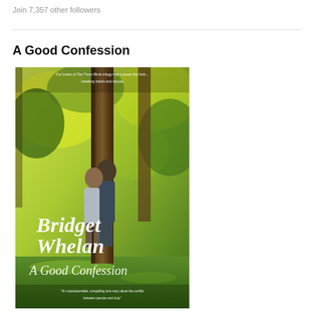Join 7,357 other followers
A Good Confession
[Figure (photo): Book cover of 'A Good Confession' by Bridget Whelan. Shows two people standing close together near a large tree in a green wooded setting. Text on cover reads: 'For lovers of The Thorn Birds trilogy that crosses the Irish... breaking habits and taboos', 'Bridget Whelan', 'A Good Confession', and 'An unputdownable, compelling love story about the conflict between passion and duty']